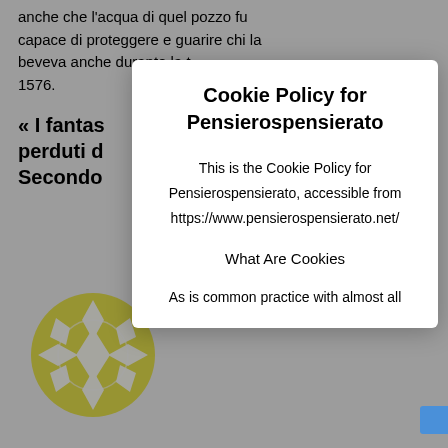anche che l'acqua di quel pozzo fu capace di proteggere e guarire chi la beveva anche durante la t... 1576.
« I fantas... perduti d... Secondo...
[Figure (logo): Yellow decorative circular logo with diamond/flower pattern]
Cookie Policy for Pensierospensierato
This is the Cookie Policy for Pensierospensierato, accessible from https://www.pensierospensierato.net/
What Are Cookies
As is common practice with almost all